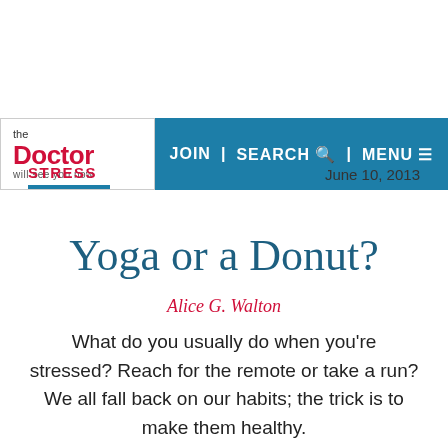the Doctor will see you now | JOIN | SEARCH | MENU
STRESS
June 10, 2013
Yoga or a Donut?
Alice G. Walton
What do you usually do when you're stressed? Reach for the remote or take a run? We all fall back on our habits; the trick is to make them healthy.